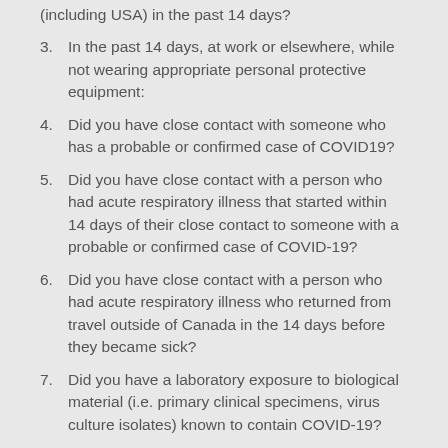(including USA) in the past 14 days?
3. In the past 14 days, at work or elsewhere, while not wearing appropriate personal protective equipment:
4. Did you have close contact with someone who has a probable or confirmed case of COVID19?
5. Did you have close contact with a person who had acute respiratory illness that started within 14 days of their close contact to someone with a probable or confirmed case of COVID-19?
6. Did you have close contact with a person who had acute respiratory illness who returned from travel outside of Canada in the 14 days before they became sick?
7. Did you have a laboratory exposure to biological material (i.e. primary clinical specimens, virus culture isolates) known to contain COVID-19?
Things are going to get better this summer. We'll be watching for updates (along with everyone else I'm sure) and hopefully sometime this summer we'll get back to enjoying full use of the